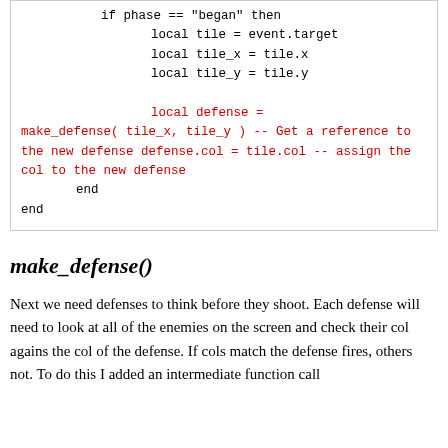[Figure (other): Code block showing Lua code snippet with if phase == 'began' then block, local tile/tile_x/tile_y assignments, and local defense = make_defense( tile_x, tile_y ) call with comments, followed by end statements.]
make_defense()
Next we need defenses to think before they shoot. Each defense will need to look at all of the enemies on the screen and check their col agains the col of the defense. If cols match the defense fires, others not. To do this I added an intermediate function call